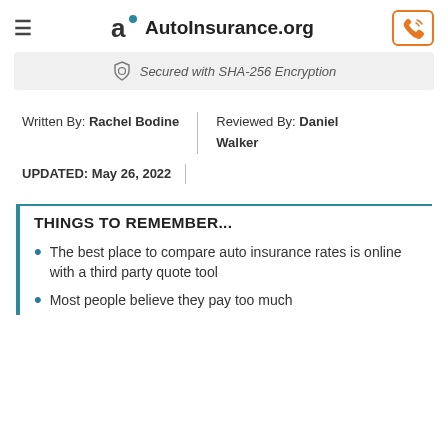AutoInsurance.org
Secured with SHA-256 Encryption
Written By: Rachel Bodine
Reviewed By: Daniel Walker
UPDATED: May 26, 2022
THINGS TO REMEMBER...
The best place to compare auto insurance rates is online with a third party quote tool
Most people believe they pay too much